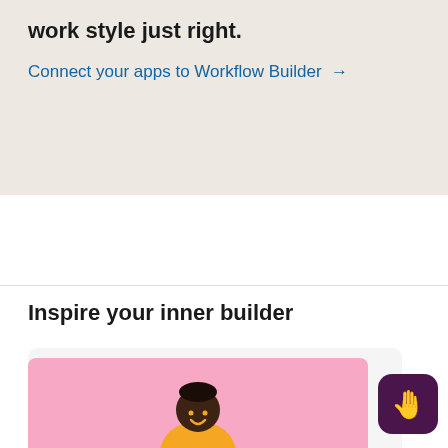work style just right.
Connect your apps to Workflow Builder →
Inspire your inner builder
[Figure (illustration): Illustration of a person sitting cross-legged on a striped stool, wearing an orange shirt and blue jeans, working on a laptop against a pink background.]